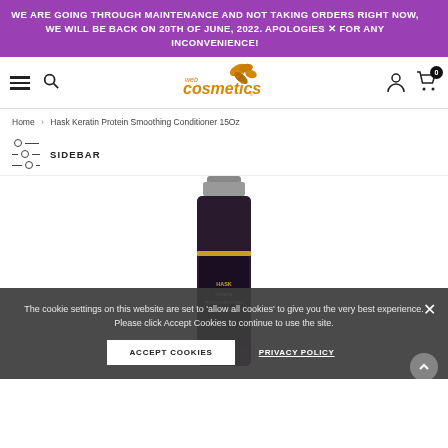WE ARE GOING THROUGH MAINTENANCE AND NOT TAKING ORDERS RIGHT NOW, WE WILL BE BACK ON 20TH OF JUNE, 2022. APOLOGIES × FOR ANY INCONVENIENCE!
[Figure (logo): Web Cosmetics logo with stylized golden text and butterfly/leaf graphic]
Home › Hask Keratin Protein Smoothing Conditioner 15Oz
SIDEBAR
[Figure (photo): Hask Keratin Protein Smoothing Conditioner 15Oz dark bottle with silver cap]
The cookie settings on this website are set to 'allow all cookies' to give you the very best experience. Please click Accept Cookies to continue to use the site.
ACCEPT COOKIES   PRIVACY POLICY